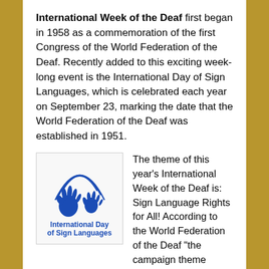International Week of the Deaf first began in 1958 as a commemoration of the first Congress of the World Federation of the Deaf. Recently added to this exciting week-long event is the International Day of Sign Languages, which is celebrated each year on September 23, marking the date that the World Federation of the Deaf was established in 1951.
[Figure (logo): International Day of Sign Languages logo showing two blue hands signing with arc lines above them, with text 'International Day of Sign Languages' below]
The theme of this year's International Week of the Deaf is: Sign Language Rights for All! According to the World Federation of the Deaf “the campaign theme ensures that no one in the Deaf Community is left behind. It calls for decision makers to give linguistic rights to deaf people and all sign language users.” It is the position of the World Federation of the Deaf, as well as the National Association of the Deaf, and most Deaf education advocates around the globe, that access to sign language is a human right for those who have hearing loss, and